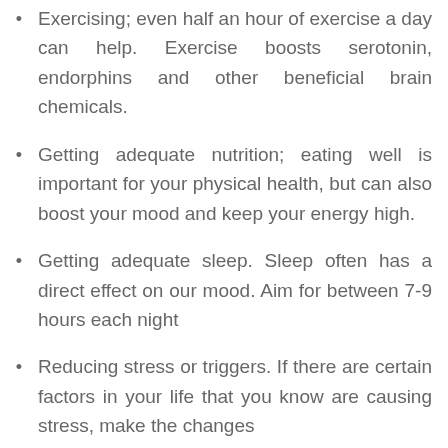Exercising; even half an hour of exercise a day can help. Exercise boosts serotonin, endorphins and other beneficial brain chemicals.
Getting adequate nutrition; eating well is important for your physical health, but can also boost your mood and keep your energy high.
Getting adequate sleep. Sleep often has a direct effect on our mood. Aim for between 7-9 hours each night
Reducing stress or triggers. If there are certain factors in your life that you know are causing stress, make the changes